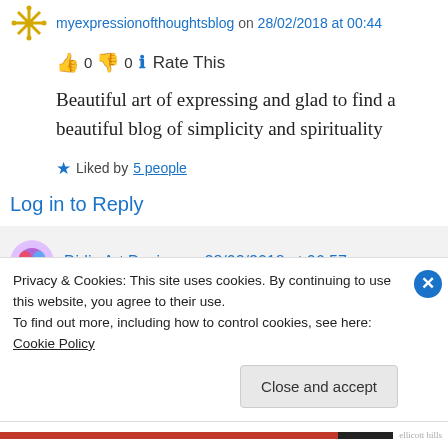myexpressionofthoughtsblog on 28/02/2018 at 00:44
👍 0 👎 0 ℹ Rate This
Beautiful art of expressing and glad to find a beautiful blog of simplicity and spirituality
★ Liked by 5 people
Log in to Reply
Didis Art Design on 28/02/2018 at 06:57
Privacy & Cookies: This site uses cookies. By continuing to use this website, you agree to their use.
To find out more, including how to control cookies, see here: Cookie Policy
Close and accept